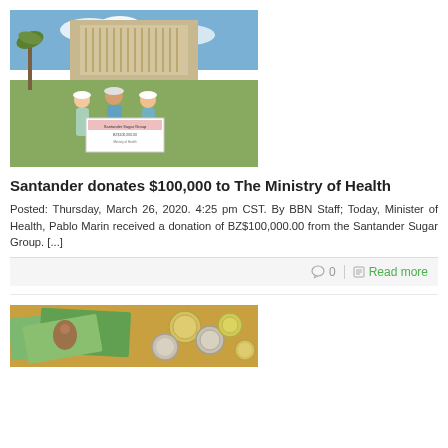[Figure (photo): Three people standing in front of a building outdoors, holding a large cheque. Two women wearing white caps and a man in the center, all in light blue/teal clothing.]
Santander donates $100,000 to The Ministry of Health
Posted: Thursday, March 26, 2020. 4:25 pm CST. By BBN Staff; Today, Minister of Health, Pablo Marin received a donation of BZ$100,000.00 from the Santander Sugar Group. [...]
0  Read more
[Figure (photo): Close-up photo of various coins and paper currency/banknotes spread out.]